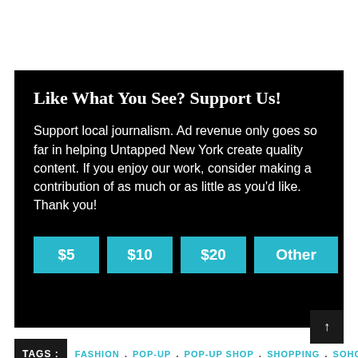Like What You See? Support Us!
Support local journalism. Ad revenue only goes so far in helping Untapped New York create quality content. If you enjoy our work, consider making a contribution of as much or as little as you'd like. Thank you!
$5
$10
$20
Other
TAGS : FASHION . POP-UP . POP-UP SHOP . SHOPPING . SOHO